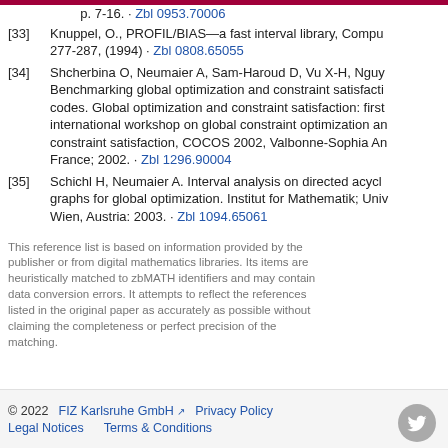[33] Knuppel, O., PROFIL/BIAS—a fast interval library, Compu 277-287, (1994) · Zbl 0808.65055
[34] Shcherbina O, Neumaier A, Sam-Haroud D, Vu X-H, Nguy Benchmarking global optimization and constraint satisfacti codes. Global optimization and constraint satisfaction: first international workshop on global constraint optimization an constraint satisfaction, COCOS 2002, Valbonne-Sophia An France; 2002. · Zbl 1296.90004
[35] Schichl H, Neumaier A. Interval analysis on directed acycl graphs for global optimization. Institut for Mathematik; Univ Wien, Austria: 2003. · Zbl 1094.65061
This reference list is based on information provided by the publisher or from digital mathematics libraries. Its items are heuristically matched to zbMATH identifiers and may contain data conversion errors. It attempts to reflect the references listed in the original paper as accurately as possible without claiming the completeness or perfect precision of the matching.
© 2022   FIZ Karlsruhe GmbH   Privacy Policy   Legal Notices   Terms & Conditions